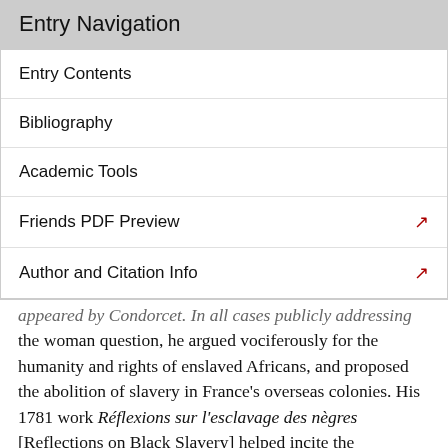Entry Navigation
Entry Contents
Bibliography
Academic Tools
Friends PDF Preview
Author and Citation Info
...the woman question, he argued vociferously for the humanity and rights of enslaved Africans, and proposed the abolition of slavery in France's overseas colonies. His 1781 work Réflexions sur l'esclavage des nègres [Reflections on Black Slavery] helped incite the abolitionist movement in France, which came together in early 1788 in the newly created Société des Amis des Noirs [Society of the Friends of Blacks], of which Condorcet became president in January 1789: a counter-lobby to the influential pro-planter Club Massiac.[5] Condorcet published actively throughout the 1780s and